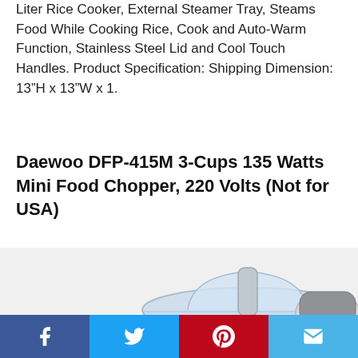Liter Rice Cooker, External Steamer Tray, Steams Food While Cooking Rice, Cook and Auto-Warm Function, Stainless Steel Lid and Cool Touch Handles. Product Specification: Shipping Dimension: 13"H x 13"W x 1.
Daewoo DFP-415M 3-Cups 135 Watts Mini Food Chopper, 220 Volts (Not for USA)
[Figure (photo): Photo of Daewoo DFP-415M Mini Food Chopper with transparent food processing bowl and lid, silver/white body, with a green circular -18% discount badge overlaid on the left side, and a back-to-top arrow button on the right.]
Social share bar: Facebook, Twitter, Pinterest, Email